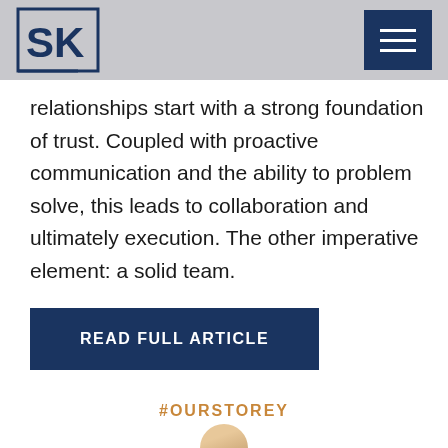SK logo and navigation menu
relationships start with a strong foundation of trust. Coupled with proactive communication and the ability to problem solve, this leads to collaboration and ultimately execution. The other imperative element: a solid team.
READ FULL ARTICLE
#OURSTOREY